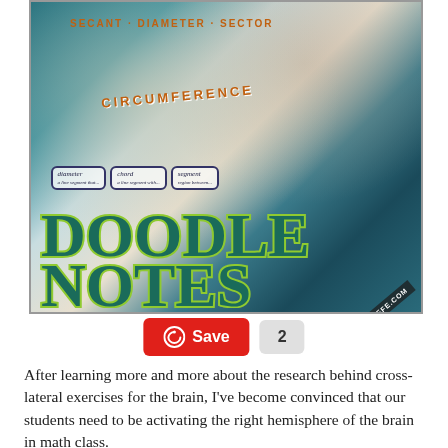[Figure (photo): A hand holding a blue pencil writing doodle notes about circles (circumference, diameter, chord, segment) with 'DOODLE NOTES' in large teal bubble letters overlaid, and 'MATHGIRAFFE.COM' watermark in the corner.]
Save  2
After learning more and more about the research behind cross-lateral exercises for the brain, I've become convinced that our students need to be activating the right hemisphere of the brain in math class.